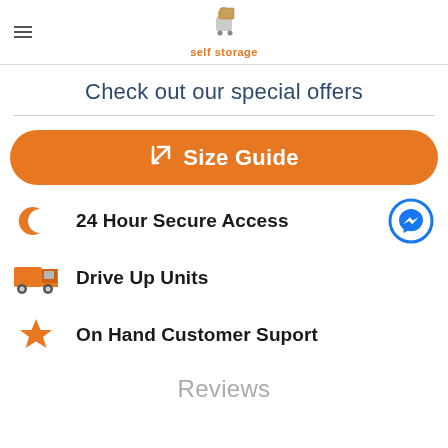self storage [logo]
Check out our special offers
Size Guide
24 Hour Secure Access
Drive Up Units
On Hand Customer Suport
Reviews